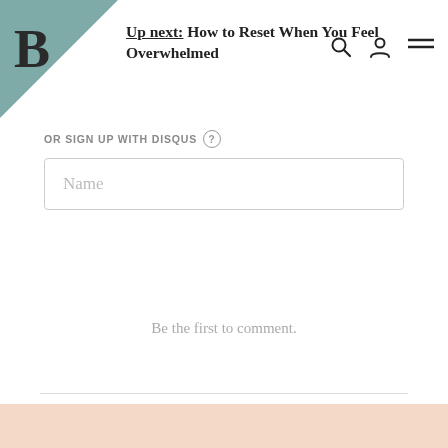Up next: How to Reset When You Feel Overwhelmed
OR SIGN UP WITH DISQUS
Name
Be the first to comment.
Subscribe   Add Disqus   Do Not Sell My Data   DISQUS